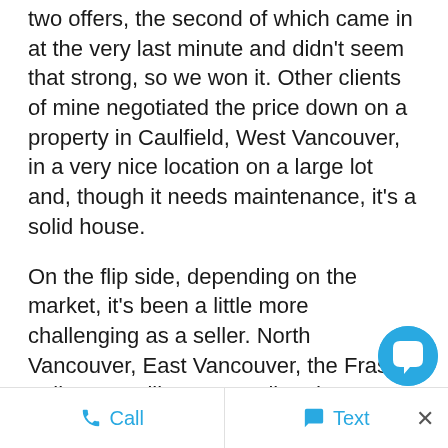two offers, the second of which came in at the very last minute and didn't seem that strong, so we won it. Other clients of mine negotiated the price down on a property in Caulfield, West Vancouver, in a very nice location on a large lot and, though it needs maintenance, it's a solid house.
On the flip side, depending on the market, it's been a little more challenging as a seller. North Vancouver, East Vancouver, the Fraser Valley are still easy to sell and more difficult to buy areas, but at least now you can still actually see properties and take your time to look at them. Market condi...
Call  Text